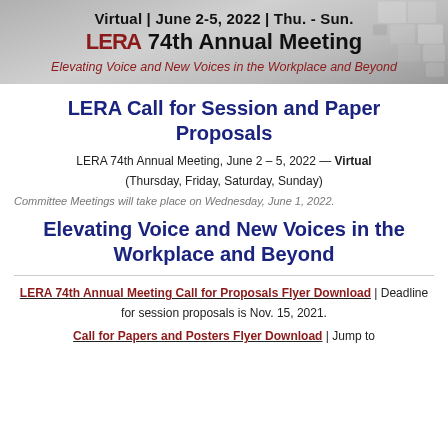[Figure (illustration): Banner with geometric grey square pattern background showing LERA 74th Annual Meeting header with date, logo, and theme subtitle]
LERA Call for Session and Paper Proposals
LERA 74th Annual Meeting, June 2 – 5, 2022 — Virtual (Thursday, Friday, Saturday, Sunday)
Committee Meetings will take place on Wednesday, June 1, 2022.
Elevating Voice and New Voices in the Workplace and Beyond
LERA 74th Annual Meeting Call for Proposals Flyer Download | Deadline for session proposals is Nov. 15, 2021.
Call for Papers and Posters Flyer Download | Jump to